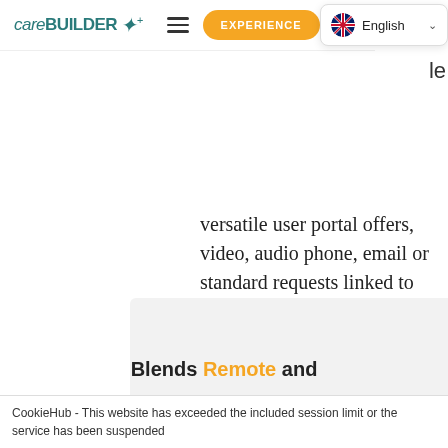careBUILDER
versatile user portal offers, video, audio phone, email or standard requests linked to specific devices. We like to make sure interventions are kept easy and relevant for each user.
Blends Remote and face-to-face Care to Enhance the Support and Safety of your
CookieHub - This website has exceeded the included session limit or the service has been suspended